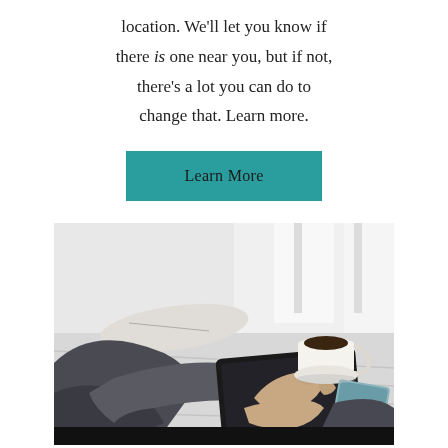location. We'll let you know if there is one near you, but if not, there's a lot you can do to change that. Learn more.
[Figure (other): A teal/cyan rectangular button with the text 'Learn More']
[Figure (photo): Person sitting at a white wooden table holding a tablet/iPad, with a coffee cup, open book/magazine, and a smartphone on the table. Soft, bright natural light in the background.]